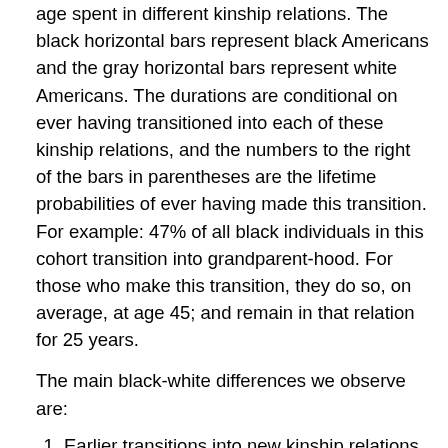age spent in different kinship relations. The black horizontal bars represent black Americans and the gray horizontal bars represent white Americans. The durations are conditional on ever having transitioned into each of these kinship relations, and the numbers to the right of the bars in parentheses are the lifetime probabilities of ever having made this transition. For example: 47% of all black individuals in this cohort transition into grandparent-hood. For those who make this transition, they do so, on average, at age 45; and remain in that relation for 25 years.
The main black-white differences we observe are:
Earlier transitions into new kinship relations for black Americans: driven by higher fertility at earlier ages (that make different types of kin available earlier on in life)
Shorter durations in kinship relations for black